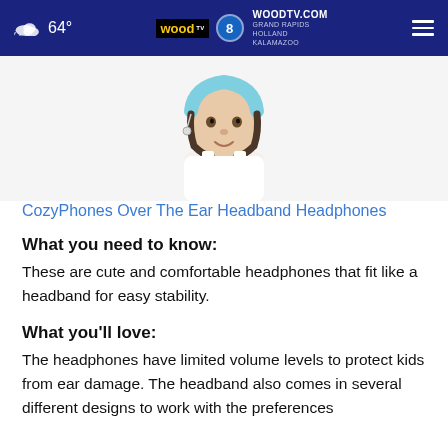64° | WOODTV.COM GRAND RAPIDS HOLLAND KALAMAZOO
[Figure (photo): A child wearing a light blue headband/headphones, white top, white background]
CozyPhones Over The Ear Headband Headphones
What you need to know:
These are cute and comfortable headphones that fit like a headband for easy stability.
What you'll love:
The headphones have limited volume levels to protect kids from ear damage. The headband also comes in several different designs to work with the preferences...